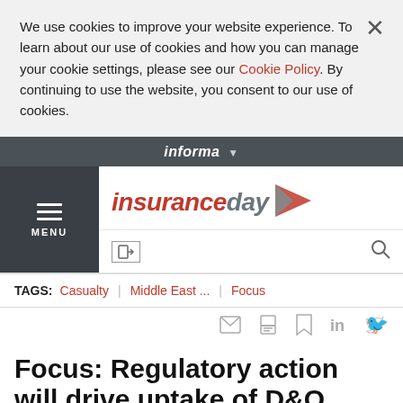We use cookies to improve your website experience. To learn about our use of cookies and how you can manage your cookie settings, please see our Cookie Policy. By continuing to use the website, you consent to our use of cookies.
informa
[Figure (logo): Insurance Day logo with red and grey play-button icon]
TAGS: Casualty | Middle East ... | Focus
Share icons: email, print, bookmark, LinkedIn, Twitter
Focus: Regulatory action will drive uptake of D&O liability